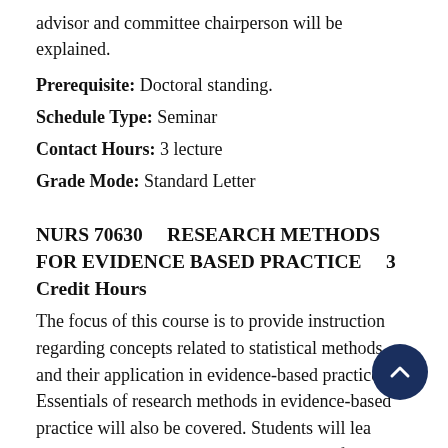advisor and committee chairperson will be explained.
Prerequisite: Doctoral standing.
Schedule Type: Seminar
Contact Hours: 3 lecture
Grade Mode: Standard Letter
NURS 70630    RESEARCH METHODS FOR EVIDENCE BASED PRACTICE    3 Credit Hours
The focus of this course is to provide instruction regarding concepts related to statistical methods and their application in evidence-based practice. Essentials of research methods in evidence-based practice will also be covered. Students will learn to critically analyze and synthesize research findings.
Prerequisite: Doctoral standing.